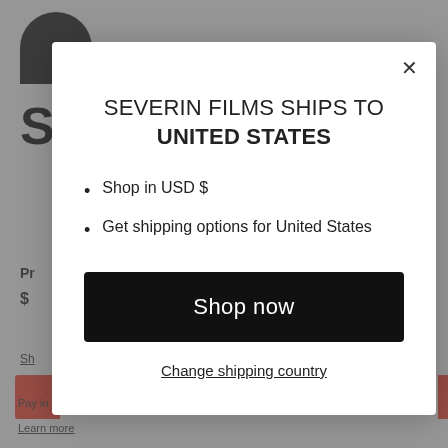[Figure (screenshot): Background of Severin Films e-commerce product page, partially obscured by modal overlay. Shows logo silhouette, large 'S' letter, hamburger menu, price label, price, shipping link, add to cart button, and footer payment info.]
SEVERIN FILMS SHIPS TO UNITED STATES
Shop in USD $
Get shipping options for United States
Shop now
Change shipping country